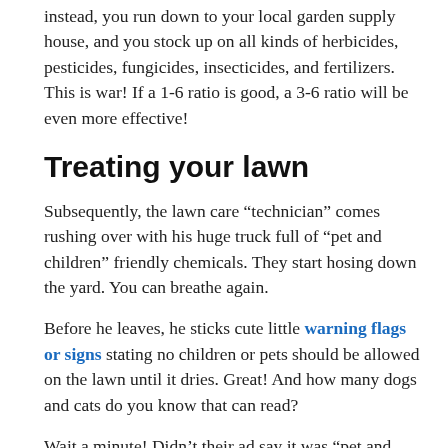instead, you run down to your local garden supply house, and you stock up on all kinds of herbicides, pesticides, fungicides, insecticides, and fertilizers. This is war! If a 1-6 ratio is good, a 3-6 ratio will be even more effective!
Treating your lawn
Subsequently, the lawn care “technician” comes rushing over with his huge truck full of “pet and children” friendly chemicals. They start hosing down the yard. You can breathe again.
Before he leaves, he sticks cute little warning flags or signs stating no children or pets should be allowed on the lawn until it dries. Great! And how many dogs and cats do you know that can read?
Wait a minute! Didn’t their ad say it was “pet and children” friendly? So all their commercials about the...